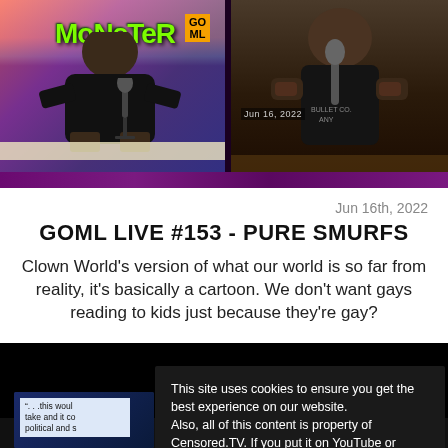[Figure (screenshot): Two-panel video screenshot: left panel shows a person in a black Monster shirt with colorful background and GOML branding; right panel shows a person in a black t-shirt at a desk]
Jun 16th, 2022
GOML LIVE #153 - PURE SMURFS
Clown World's version of what our world is so far from reality, it's basically a cartoon. We don't want gays reading to kids just because they're gay?
[Figure (screenshot): Second video thumbnail showing a caption box with partially visible text: '...this woul take and it co political and s']
This site uses cookies to ensure you get the best experience on our website.
Also, all of this content is property of Censored.TV. If you put it on YouTube or anywhere else without our permission, we will get it taken down.  Learn more
I understand!